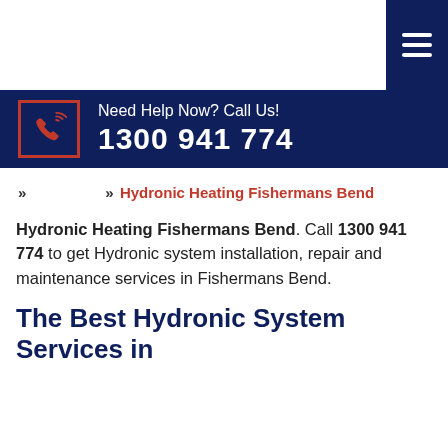[Figure (other): Dark navy blue hamburger menu button with three white horizontal lines in top-right corner]
Need Help Now? Call Us!
1300 941 774
» » Hydronic Heating Fishermans Bend
Hydronic Heating Fishermans Bend. Call 1300 941 774 to get Hydronic system installation, repair and maintenance services in Fishermans Bend.
The Best Hydronic System Services in